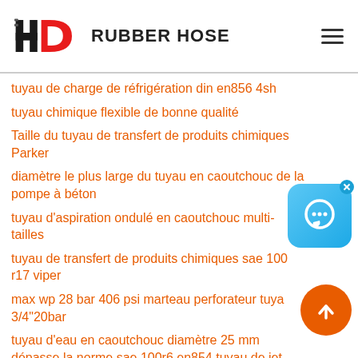[Figure (logo): HD Rubber Hose logo with red and black HD monogram and bold black text RUBBER HOSE]
tuyau de charge de réfrigération din en856 4sh
tuyau chimique flexible de bonne qualité
Taille du tuyau de transfert de produits chimiques Parker
diamètre le plus large du tuyau en caoutchouc de la pompe à béton
tuyau d'aspiration ondulé en caoutchouc multi-tailles
tuyau de transfert de produits chimiques sae 100 r17 viper
max wp 28 bar 406 psi marteau perforateur tuyau 3/4"20bar
tuyau d'eau en caoutchouc diamètre 25 mm dépasse la norme sae 100r6 en854 tuyau de jet